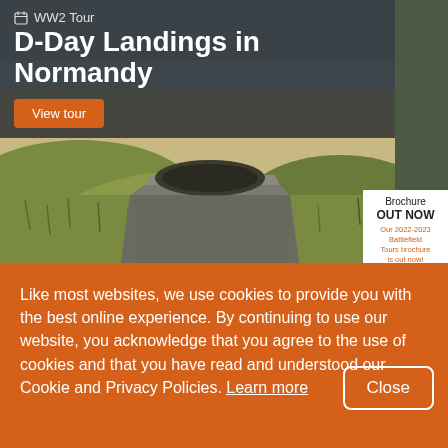[Figure (photo): Aerial photo of Normandy beach with sandy dunes, grass, and a WWII concrete bunker/pillbox in the foreground]
WW2 Tour
D-Day Landings in Normandy
View tour
[Figure (other): Battlefield Tours brochure OUT NOW panel showing 2022-2023 Battlefield Tours brochure cover]
Like most websites, we use cookies to provide you with the best online experience. By continuing to use our website, you acknowledge that you agree to the use of cookies and that you have read and understood our Cookie and Privacy Policies. Learn more